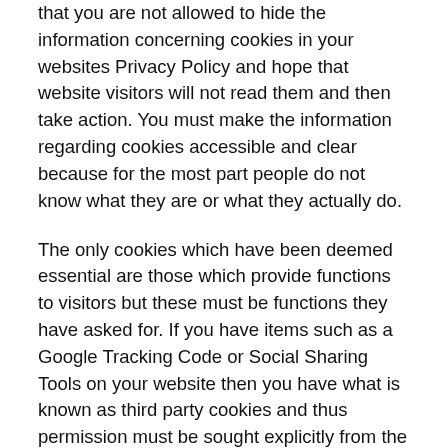that you are not allowed to hide the information concerning cookies in your websites Privacy Policy and hope that website visitors will not read them and then take action. You must make the information regarding cookies accessible and clear because for the most part people do not know what they are or what they actually do.
The only cookies which have been deemed essential are those which provide functions to visitors but these must be functions they have asked for. If you have items such as a Google Tracking Code or Social Sharing Tools on your website then you have what is known as third party cookies and thus permission must be sought explicitly from the website visitor so they can accept or decline them.
What do I need to do in